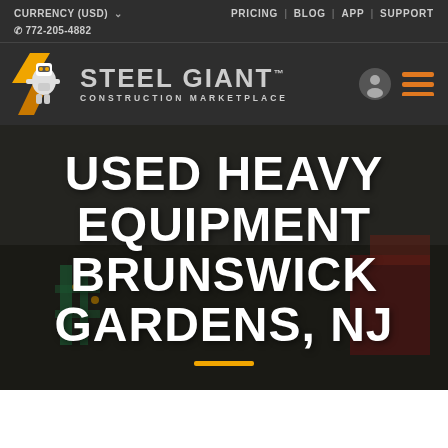CURRENCY (USD)  PRICING | BLOG | APP | SUPPORT  772-205-4882
[Figure (logo): Steel Giant Construction Marketplace logo with robot mascot in yellow/white armor, orange diagonal stripes, text STEEL GIANT in gray, CONSTRUCTION MARKETPLACE below in smaller gray letters, with user icon and hamburger menu icon on the right]
USED HEAVY EQUIPMENT BRUNSWICK GARDENS, NJ